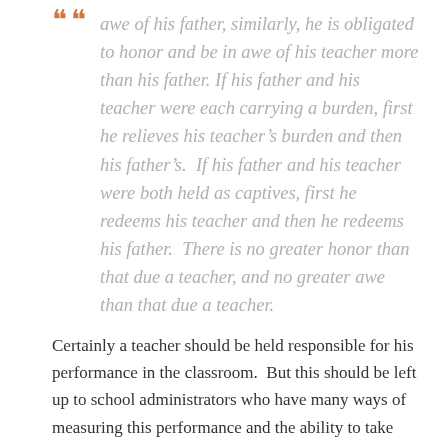awe of his father, similarly, he is obligated to honor and be in awe of his teacher more than his father. If his father and his teacher were each carrying a burden, first he relieves his teacher's burden and then his father's.  If his father and his teacher were both held as captives, first he redeems his teacher and then he redeems his father.  There is no greater honor than that due a teacher, and no greater awe than that due a teacher.
Certainly a teacher should be held responsible for his performance in the classroom.  But this should be left up to school administrators who have many ways of measuring this performance and the ability to take action against teachers